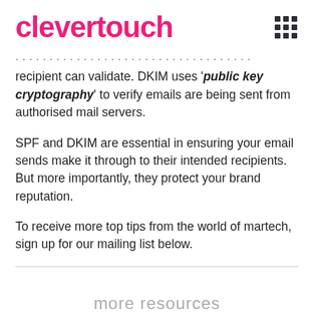clevertouch
recipient can validate. DKIM uses 'public key cryptography' to verify emails are being sent from authorised mail servers.
SPF and DKIM are essential in ensuring your email sends make it through to their intended recipients. But more importantly, they protect your brand reputation.
To receive more top tips from the world of martech, sign up for our mailing list below.
more resources